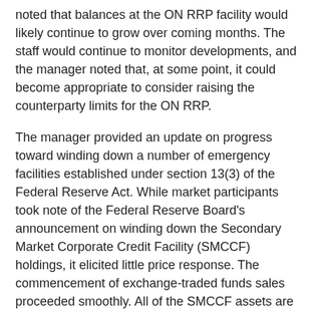noted that balances at the ON RRP facility would likely continue to grow over coming months. The staff would continue to monitor developments, and the manager noted that, at some point, it could become appropriate to consider raising the counterparty limits for the ON RRP.
The manager provided an update on progress toward winding down a number of emergency facilities established under section 13(3) of the Federal Reserve Act. While market participants took note of the Federal Reserve Board's announcement on winding down the Secondary Market Corporate Credit Facility (SMCCF) holdings, it elicited little price response. The commencement of exchange-traded funds sales proceeded smoothly. All of the SMCCF assets are expected to be sold by the end of this year.
Finally, the manager noted a proposal to request the Chair's approval for an extension to the temporary U.S. dollar liquidity swap arrangements to December 31, 2021. The